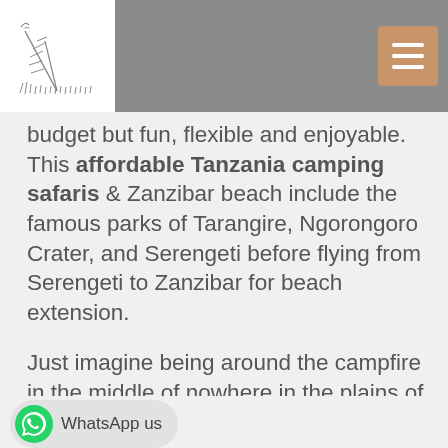Logo and navigation header
budget but fun, flexible and enjoyable. This affordable Tanzania camping safaris & Zanzibar beach include the famous parks of Tarangire, Ngorongoro Crater, and Serengeti before flying from Serengeti to Zanzibar for beach extension.
Just imagine being around the campfire in the middle of nowhere in the plains of Serengeti, stars shining from the African sky as you zip one of your favorable Tanzanian beer after a delightful hot African dish freshly prepared by your private safari chef.
Roaring lion from the distance, laughing